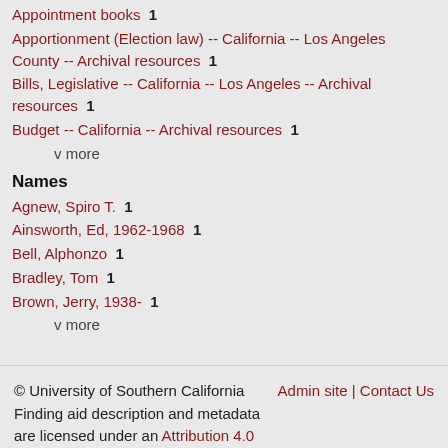Appointment books  1
Apportionment (Election law) -- California -- Los Angeles County -- Archival resources  1
Bills, Legislative -- California -- Los Angeles -- Archival resources  1
Budget -- California -- Archival resources  1
v more
Names
Agnew, Spiro T.  1
Ainsworth, Ed, 1962-1968  1
Bell, Alphonzo  1
Bradley, Tom  1
Brown, Jerry, 1938-  1
v more
© University of Southern California Finding aid description and metadata are licensed under an Attribution 4.0 International (CC BY 4.0) license. | Admin site | Contact Us